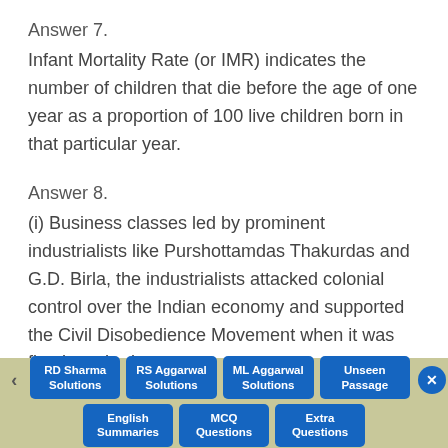Answer 7.
Infant Mortality Rate (or IMR) indicates the number of children that die before the age of one year as a proportion of 100 live children born in that particular year.
Answer 8.
(i) Business classes led by prominent industrialists like Purshottamdas Thakurdas and G.D. Birla, the industrialists attacked colonial control over the Indian economy and supported the Civil Disobedience Movement when it was first launched.
RD Sharma Solutions | RS Aggarwal Solutions | ML Aggarwal Solutions | Unseen Passage | English Summaries | MCQ Questions | Extra Questions